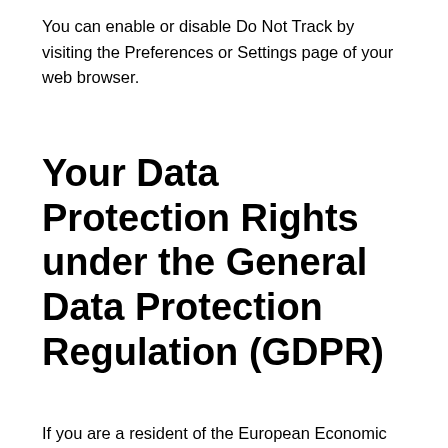You can enable or disable Do Not Track by visiting the Preferences or Settings page of your web browser.
Your Data Protection Rights under the General Data Protection Regulation (GDPR)
If you are a resident of the European Economic Area (EEA), you have certain data protection rights. BVS, Inc aims to take reasonable steps to allow you to correct, amend, delete or limit the use of your Personal Data.
If you wish to be informed about what Personal Data we